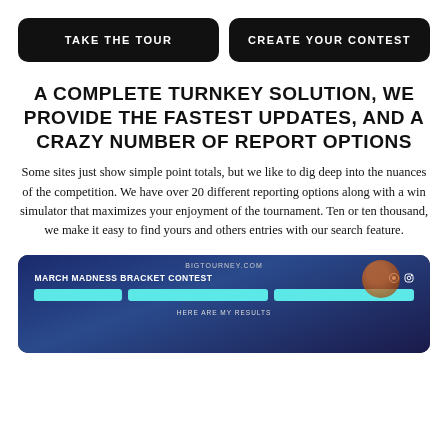TAKE THE TOUR
CREATE YOUR CONTEST
A COMPLETE TURNKEY SOLUTION, WE PROVIDE THE FASTEST UPDATES, AND A CRAZY NUMBER OF REPORT OPTIONS
Some sites just show simple point totals, but we like to dig deep into the nuances of the competition. We have over 20 different reporting options along with a win simulator that maximizes your enjoyment of the tournament. Ten or ten thousand, we make it easy to find yours and others entries with our search feature.
[Figure (screenshot): Screenshot of BIGTOURNEY.COM website showing March Madness Bracket Contest page with navigation buttons and 'HERE ARE MY RESULTS' section header]